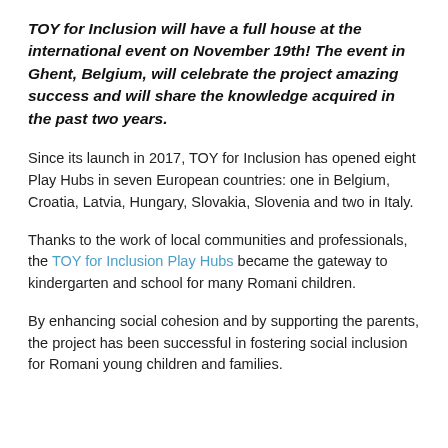TOY for Inclusion will have a full house at the international event on November 19th! The event in Ghent, Belgium, will celebrate the project amazing success and will share the knowledge acquired in the past two years.
Since its launch in 2017, TOY for Inclusion has opened eight Play Hubs in seven European countries: one in Belgium, Croatia, Latvia, Hungary, Slovakia, Slovenia and two in Italy.
Thanks to the work of local communities and professionals, the TOY for Inclusion Play Hubs became the gateway to kindergarten and school for many Romani children.
By enhancing social cohesion and by supporting the parents, the project has been successful in fostering social inclusion for Romani young children and families.